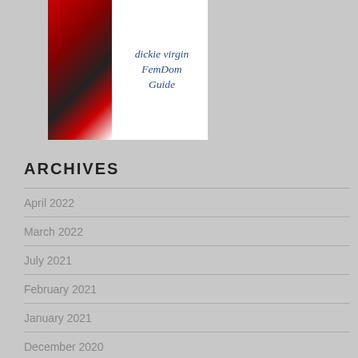[Figure (illustration): Book/guide cover image showing 'dickie virgin FemDom Guide' text on white background with red and black abstract imagery on the left side]
[Figure (logo): I Love FetLife circular badge logo — black circle with 'I [heart] FetLife' and subtitle 'BDSM & fetish community for kinksters by kinksters']
ARCHIVES
April 2022
March 2022
July 2021
February 2021
January 2021
December 2020
November 2020
October 2020